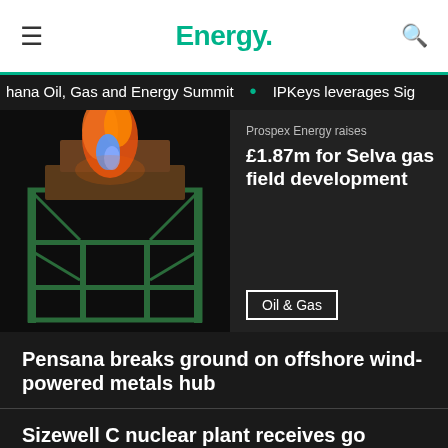Energy.
hana Oil, Gas and Energy Summit • IPKeys leverages Sig
[Figure (photo): Industrial gas flare burning at night with orange and blue flames on a metal structure with green scaffolding.]
Prospex Energy raises £1.87m for Selva gas field development
Oil & Gas
Pensana breaks ground on offshore wind-powered metals hub
Sizewell C nuclear plant receives go ahead in UK
Jane Toogood appointed UK's first Hydrogen Champion